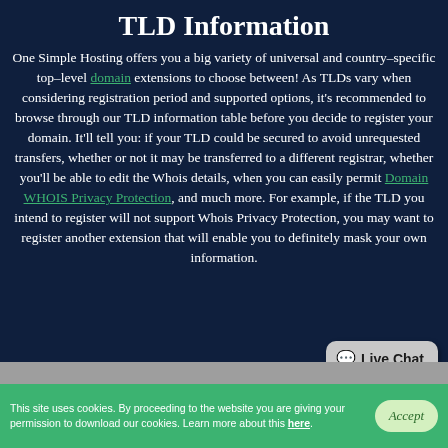TLD Information
One Simple Hosting offers you a big variety of universal and country–specific top–level domain extensions to choose between! As TLDs vary when considering registration period and supported options, it's recommended to browse through our TLD information table before you decide to register your domain. It'll tell you: if your TLD could be secured to avoid unrequested transfers, whether or not it may be transferred to a different registrar, whether you'll be able to edit the Whois details, when you can easily permit Domain WHOIS Privacy Protection, and much more. For example, if the TLD you intend to register will not support Whois Privacy Protection, you may want to register another extension that will enable you to definitely mask your own information.
Live Chat
This site uses cookies. By proceeding to the website you are giving your permission to download our cookies. Learn more about this here.